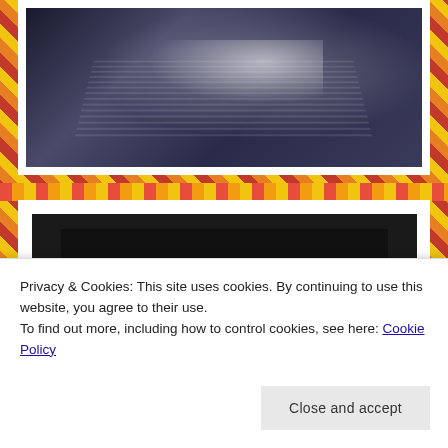[Figure (photo): Black and white photo of an open book with pages fanning out, artistic light rays/sparkles effect]
[Figure (logo): Black logo image with white text reading 'The' in large serif font, on a dark background with double border]
Privacy & Cookies: This site uses cookies. By continuing to use this website, you agree to their use.
To find out more, including how to control cookies, see here: Cookie Policy
Close and accept